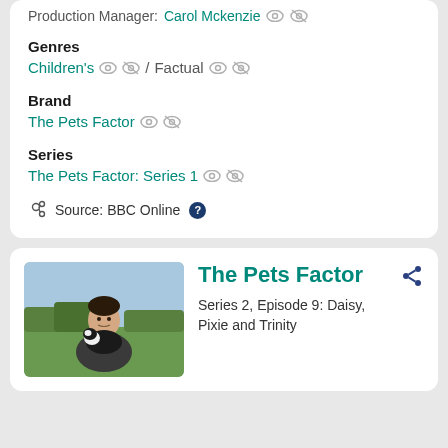Production Manager: Carol Mckenzie
Genres
Children's / Factual
Brand
The Pets Factor
Series
The Pets Factor: Series 1
Source: BBC Online
[Figure (photo): Man holding a black and white border collie puppy outdoors on a green field]
The Pets Factor
Series 2, Episode 9: Daisy, Pixie and Trinity